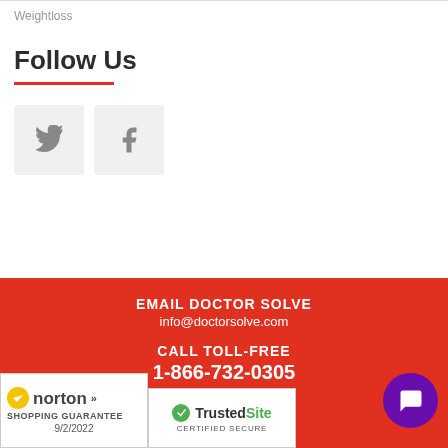Weightloss
Follow Us
[Figure (illustration): Twitter bird icon in a light grey square button]
[Figure (illustration): Facebook 'f' icon in a light grey square button]
EMAIL DOCTOR SOLVE
info@doctorsolve.com
CALL TOLL-FREE
1-866-732-0305
[Figure (logo): Norton Shopping Guarantee badge with checkmark, dated 9/2/2022]
[Figure (logo): TrustedSite Certified Secure badge]
[Figure (illustration): Purple circular chat/messaging button in bottom right corner]